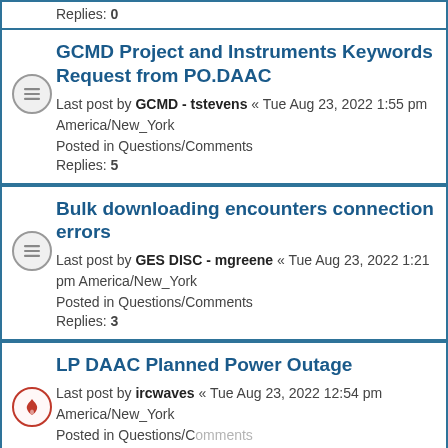Replies: 0
GCMD Project and Instruments Keywords Request from PO.DAAC — Last post by GCMD - tstevens « Tue Aug 23, 2022 1:55 pm America/New_York — Posted in Questions/Comments — Replies: 5
Bulk downloading encounters connection errors — Last post by GES DISC - mgreene « Tue Aug 23, 2022 1:21 pm America/New_York — Posted in Questions/Comments — Replies: 3
LP DAAC Planned Power Outage — Last post by ircwaves « Tue Aug 23, 2022 12:54 pm America/New_York — Posted in Questions/Comments